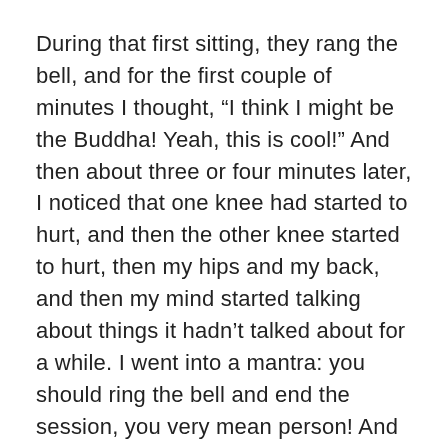During that first sitting, they rang the bell, and for the first couple of minutes I thought, “I think I might be the Buddha! Yeah, this is cool!” And then about three or four minutes later, I noticed that one knee had started to hurt, and then the other knee started to hurt, then my hips and my back, and then my mind started talking about things it hadn’t talked about for a while. I went into a mantra: you should ring the bell and end the session, you very mean person! And as this was a Zen place, they tended to not ring the bell soon enough.
That first sitting was about 50 minutes long